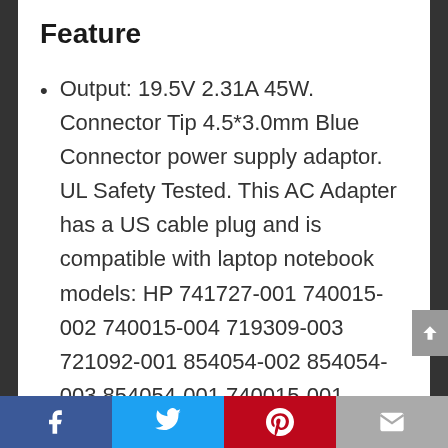Feature
Output: 19.5V 2.31A 45W. Connector Tip 4.5*3.0mm Blue Connector power supply adaptor. UL Safety Tested. This AC Adapter has a US cable plug and is compatible with laptop notebook models: HP 741727-001 740015-002 740015-004 719309-003 721092-001 854054-002 854054-003 854054-001 740015-001 Stream 11 13 14 Compatible with the following models
Facebook | Twitter | Pinterest | Email